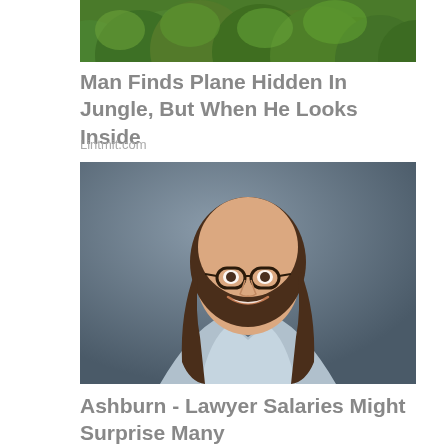[Figure (photo): Aerial or close-up view of green jungle trees, cropped to show foliage]
Man Finds Plane Hidden In Jungle, But When He Looks Inside
Lintmit.com
[Figure (photo): Professional headshot of a smiling woman with long brown hair and glasses wearing a light gray blazer, against a dark gray background]
Ashburn - Lawyer Salaries Might Surprise Many